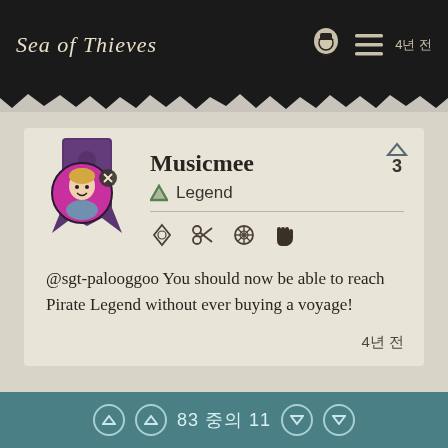Sea of Thieves  4년 전
Musicmee
Legend
@sgt-palooggoo You should now be able to reach Pirate Legend without ever buying a voyage!
4년 전
83 중의 11